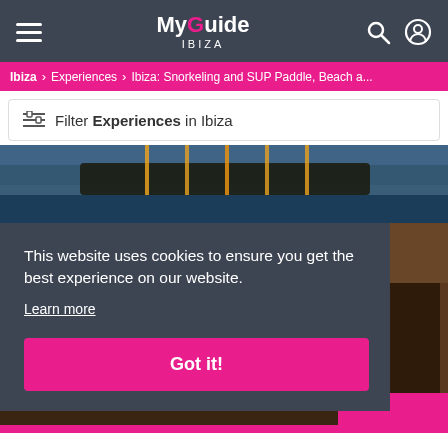MyGuide IBIZA
Ibiza > Experiences > Ibiza: Snorkeling and SUP Paddle, Beach a...
Filter Experiences in Ibiza
[Figure (photo): Boat hull reflected in dark water, lit from below]
[Figure (photo): Interior of a wooden boat, dark tones]
This website uses cookies to ensure you get the best experience on our website.
Learn more
Got it!